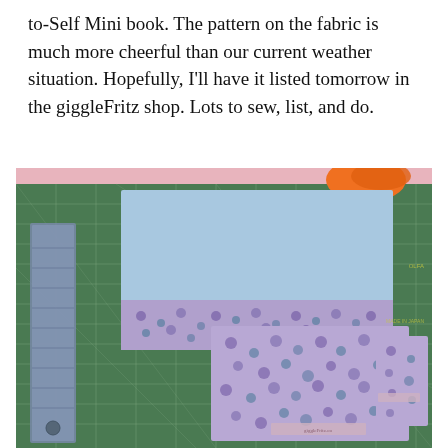to-Self Mini book. The pattern on the fabric is much more cheerful than our current weather situation. Hopefully, I'll have it listed tomorrow in the giggleFritz shop. Lots to sew, list, and do.
[Figure (photo): A green cutting mat with fabric pieces on it. There is a light blue fabric piece with a purple floral strip at the bottom in the upper left area, and a fully floral purple/blue fabric piece in the lower right area, along with a small separate floral fabric piece. A quilting ruler is visible on the left side and orange scissors are visible at the top right corner of the mat.]